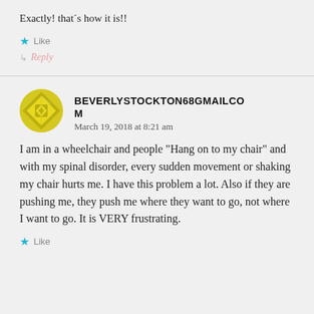Exactly! thatʼs how it is!!
★ Like
↳ Reply
BEVERLYSTOCKTON68GMAILCOM
March 19, 2018 at 8:21 am
I am in a wheelchair and people “Hang on to my chair” and with my spinal disorder, every sudden movement or shaking my chair hurts me. I have this problem a lot. Also if they are pushing me, they push me where they want to go, not where I want to go. It is VERY frustrating.
★ Like